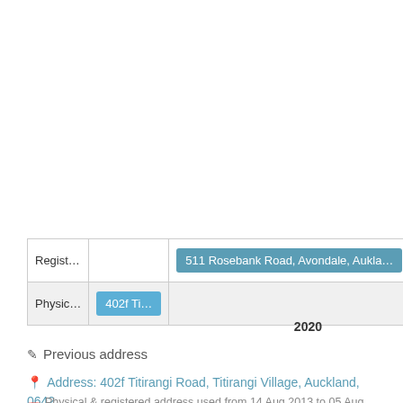|  |  |  |
| --- | --- | --- |
| Regist… |  | 511 Rosebank Road, Avondale, Aukla… |
| Physic… | 402f Ti… |  |
2020
Previous address
Address: 402f Titirangi Road, Titirangi Village, Auckland, 0642 New Zealand
Physical & registered address used from 14 Aug 2013 to 05 Aug 2015